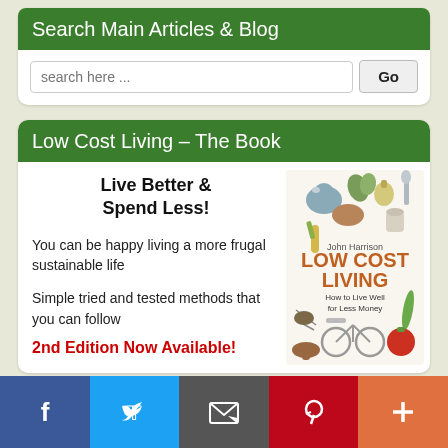Search Main Articles & Blog
search here ...
Low Cost Living – The Book
Live Better & Spend Less!
You can be happy living a more frugal sustainable life
Simple tried and tested methods that you can follow
2nd Edition Now Available!
[Figure (illustration): Book cover of 'Low Cost Living' by John Harrison, showing illustrations of a chicken, garlic, vegetables, a bicycle, and other frugal living items. Subtitle: How to Live Well for Less Money.]